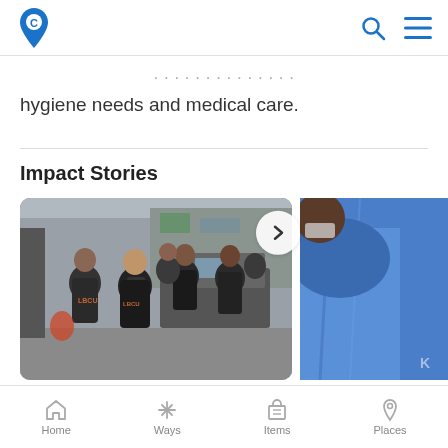App navigation bar with logo, search icon, and menu icon
hygiene needs and medical care.
Impact Stories
[Figure (photo): Group of volunteers wearing masks standing in an alley or outdoor urban area next to a pickup truck, with graffiti visible in background. Several people in dark clothing.]
[Figure (photo): Partially visible second photo showing person in blue shirt or jacket, cropped on right side of carousel.]
Home  Ways  Items  Places